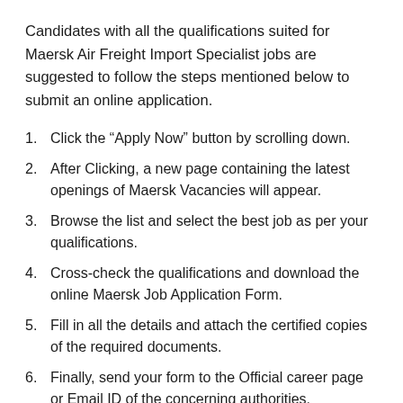Candidates with all the qualifications suited for Maersk Air Freight Import Specialist jobs are suggested to follow the steps mentioned below to submit an online application.
1. Click the “Apply Now” button by scrolling down.
2. After Clicking, a new page containing the latest openings of Maersk Vacancies will appear.
3. Browse the list and select the best job as per your qualifications.
4. Cross-check the qualifications and download the online Maersk Job Application Form.
5. Fill in all the details and attach the certified copies of the required documents.
6. Finally, send your form to the Official career page or Email ID of the concerning authorities.